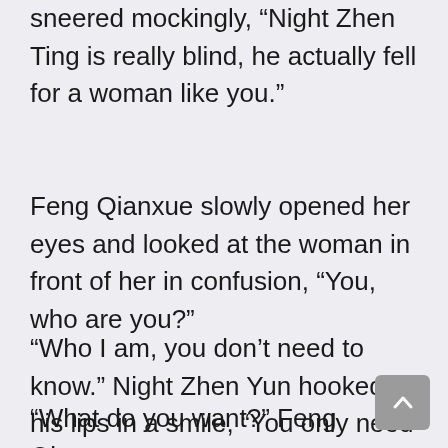sneered mockingly, “Night Zhen Ting is really blind, he actually fell for a woman like you.”
Feng Qianxue slowly opened her eyes and looked at the woman in front of her in confusion, “You, who are you?”
“Who I am, you don’t need to know.” Night Zhen Yun hooked his lips in a smile, “You only need to know that I am someone you can’t afford to mess with.”
“What do you want?” Feng Qianxue